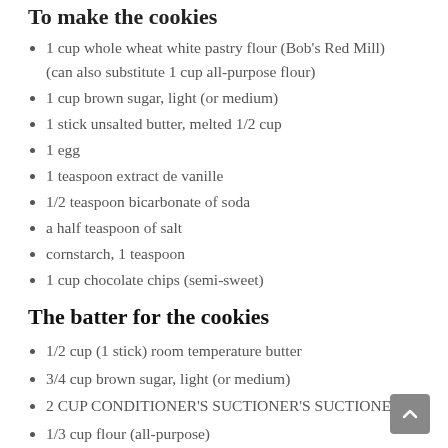To make the cookies
1 cup whole wheat white pastry flour (Bob's Red Mill) (can also substitute 1 cup all-purpose flour)
1 cup brown sugar, light (or medium)
1 stick unsalted butter, melted 1/2 cup
1 egg
1 teaspoon extract de vanille
1/2 teaspoon bicarbonate of soda
a half teaspoon of salt
cornstarch, 1 teaspoon
1 cup chocolate chips (semi-sweet)
The batter for the cookies
1/2 cup (1 stick) room temperature butter
3/4 cup brown sugar, light (or medium)
2 CUP CONDITIONER'S SUCTIONER'S SUCTIONER'
1/3 cup flour (all-purpose)